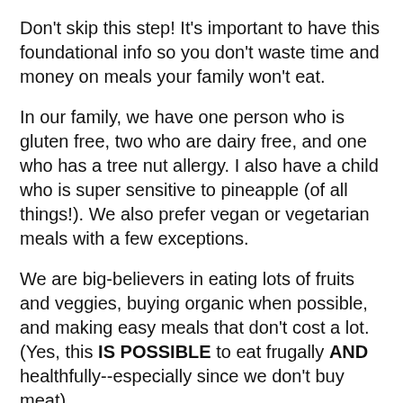Don't skip this step! It's important to have this foundational info so you don't waste time and money on meals your family won't eat.
In our family, we have one person who is gluten free, two who are dairy free, and one who has a tree nut allergy. I also have a child who is super sensitive to pineapple (of all things!). We also prefer vegan or vegetarian meals with a few exceptions.
We are big-believers in eating lots of fruits and veggies, buying organic when possible, and making easy meals that don't cost a lot. (Yes, this IS POSSIBLE to eat frugally AND healthfully--especially since we don't buy meat).
I suggest having a family meeting and asking family members what they don't and do like. Have them be very specific. State which individual foods are